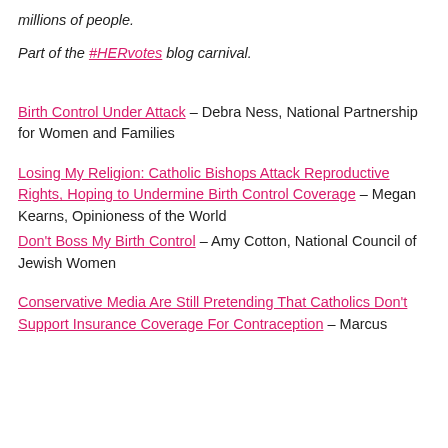millions of people.
Part of the #HERvotes blog carnival.
Birth Control Under Attack – Debra Ness, National Partnership for Women and Families
Losing My Religion: Catholic Bishops Attack Reproductive Rights, Hoping to Undermine Birth Control Coverage – Megan Kearns, Opinioness of the World
Don't Boss My Birth Control – Amy Cotton, National Council of Jewish Women
Conservative Media Are Still Pretending That Catholics Don't Support Insurance Coverage For Contraception – Marcus